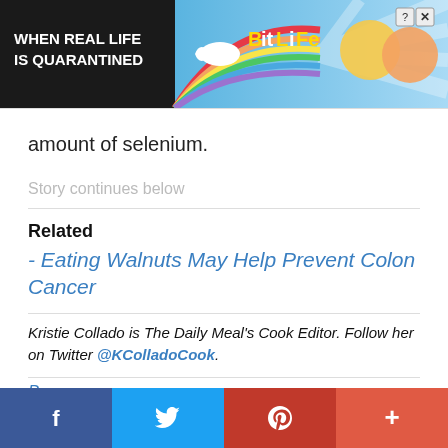[Figure (screenshot): BitLife advertisement banner with rainbow gradient, text 'WHEN REAL LIFE IS QUARANTINED' on dark background with BitLife logo and character emoji on light blue background]
amount of selenium.
Story continues below
Related
- Eating Walnuts May Help Prevent Colon Cancer
Kristie Collado is The Daily Meal's Cook Editor. Follow her on Twitter @KColladoCook.
[Figure (screenshot): Social share bar with Facebook, Twitter, Pinterest, and More buttons at the bottom of the page]